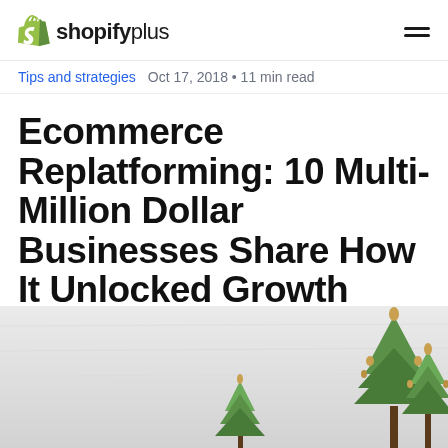shopify plus [logo] [menu]
Tips and strategies  Oct 17, 2018 • 11 min read
Ecommerce Replatforming: 10 Multi-Million Dollar Businesses Share How It Unlocked Growth
by Andrea Wahbe
[Figure (photo): Decorative hero image with a light grey/white textured background and pine tree branches visible at bottom right]